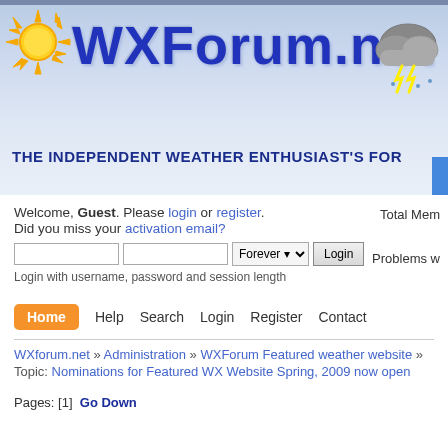[Figure (screenshot): WXForum.net website header banner with sun icon, cloud/lightning icon, blue gradient background, and title text 'WXForum.net']
THE INDEPENDENT WEATHER ENTHUSIAST'S FOR
Welcome, Guest. Please login or register. Did you miss your activation email?
Login with username, password and session length
Total Mem
Problems w
Home  Help  Search  Login  Register  Contact
WXforum.net » Administration » WXForum Featured weather website »
Topic: Nominations for Featured WX Website Spring, 2009 now open
Pages: [1]  Go Down